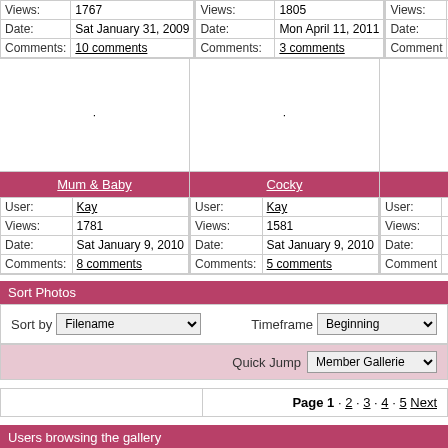|  |  |
| --- | --- |
| Views: | 1767 |
| Date: | Sat January 31, 2009 |
| Comments: | 10 comments |
|  |  |
| --- | --- |
| Views: | 1805 |
| Date: | Mon April 11, 2011 |
| Comments: | 3 comments |
[Figure (photo): Placeholder image area col 1]
[Figure (photo): Placeholder image area col 2]
|  |  |
| --- | --- |
| User: | Kay |
| Views: | 1781 |
| Date: | Sat January 9, 2010 |
| Comments: | 8 comments |
|  |  |
| --- | --- |
| User: | Kay |
| Views: | 1581 |
| Date: | Sat January 9, 2010 |
| Comments: | 5 comments |
Sort Photos
Sort by Filename   Timeframe Beginning
Quick Jump  Member Galleries
Page 1 · 2 · 3 · 4 · 5  Next
Users browsing the gallery